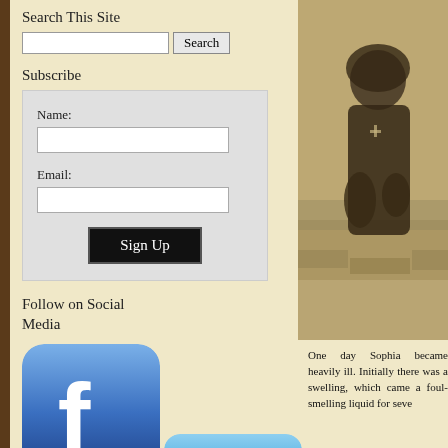Search This Site
Search [input field] [Search button]
Subscribe
Name: [input] Email: [input] [Sign Up button]
Follow on Social Media
[Figure (logo): Facebook icon button - blue rounded square with white 'f' logo]
[Figure (logo): Twitter icon button - blue rounded square with white 't' bird logo (partial)]
[Figure (photo): Black and white/sepia photo of an elderly woman in dark clothing seated outdoors near a stone wall]
One day Sophia became heavily ill. Initially there was a swelling, which came a foul-smelling liquid for seve...